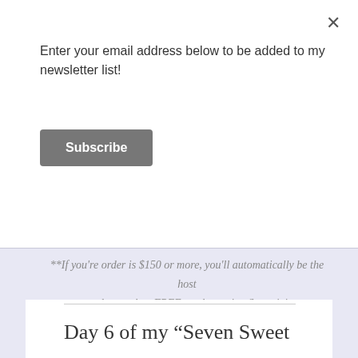Enter your email address below to be added to my newsletter list!
Subscribe
**If you're order is $150 or more, you'll automatically be the host and can select FREE product using Stampin' Rewards, including exclusive host stamp sets!
Day 6 of my “Seven Sweet